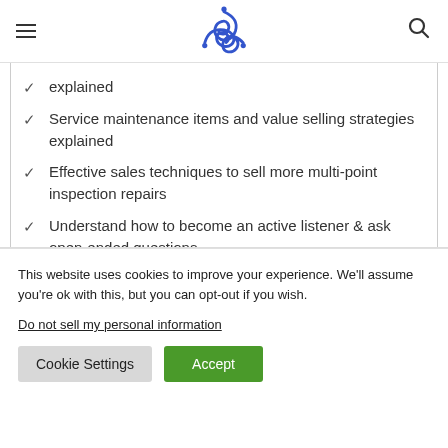[Logo and navigation bar]
explained
Service maintenance items and value selling strategies explained
Effective sales techniques to sell more multi-point inspection repairs
Understand how to become an active listener & ask open-ended questions
This website uses cookies to improve your experience. We'll assume you're ok with this, but you can opt-out if you wish.
Do not sell my personal information
Cookie Settings  Accept